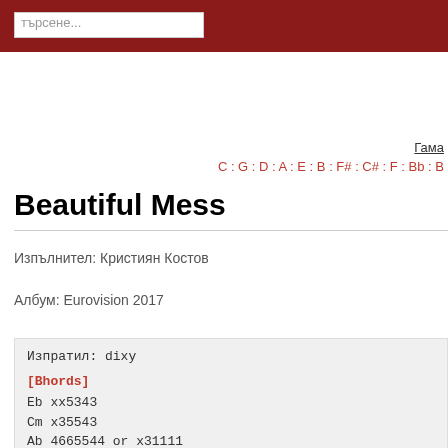търсене...
Гама
C : G : D : A : E : B : F# : C# : F : Bb : B
Beautiful Mess
Изпълнител: Кристиян Костов
Албум: Eurovision 2017
Изпратил: dixy

[Bhords]
Eb xx5343
Cm x35543
Ab 4665544 or x31111
Gm 355333
Fm 133111